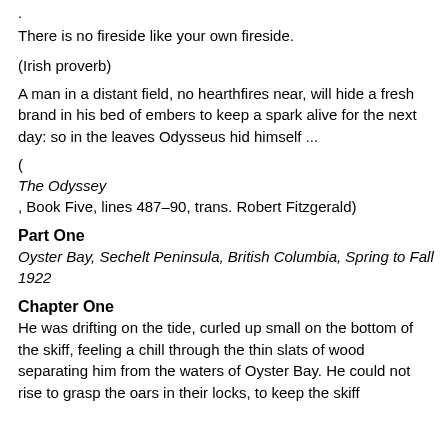.
There is no fireside like your own fireside.
(Irish proverb)
A man in a distant field, no hearthfires near, will hide a fresh brand in his bed of embers to keep a spark alive for the next day: so in the leaves Odysseus hid himself ...
(
The Odyssey
, Book Five, lines 487–490, trans. Robert Fitzgerald)
Part One
Oyster Bay, Sechelt Peninsula, British Columbia, Spring to Fall 1922
Chapter One
He was drifting on the tide, curled up small on the bottom of the skiff, feeling a chill through the thin slats of wood separating him from the waters of Oyster Bay. He could not rise to grasp the oars in their locks, to keep the skiff